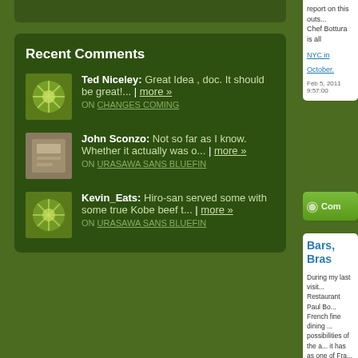Recent Comments
Ted Niceley: Great Idea , doc. It should be great!... more » ON CHANGES COMING
John Sconzo: Not so far as I know. Whether it actually was o... more » ON URASAWA SANS BLUEFIN
Kevin_Eats: Hiro-san served some with some true Kobe beef t... more » ON URASAWA SANS BLUEFIN
report on this outs... Chef Bottura is all...
NYC in October.
Feb 5, 2011 9:57:00
Com
Bars, Bras
During my last visit... Restaurant Paul Bo... French fine dining ... possibilities of the a... it has as one of Fra... friends and my son...
On the evening of ... addition to his fame...